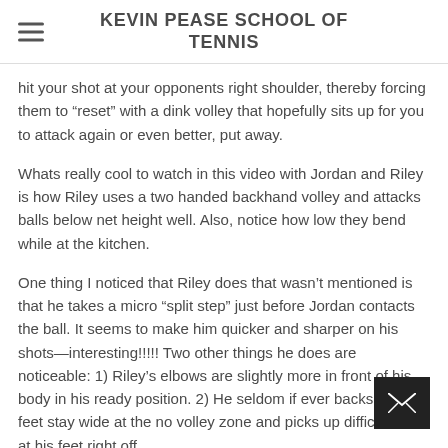KEVIN PEASE SCHOOL OF TENNIS
hit your shot at your opponents right shoulder, thereby forcing them to “reset” with a dink volley that hopefully sits up for you to attack again or even better, put away.
Whats really cool to watch in this video with Jordan and Riley is how Riley uses a two handed backhand volley and attacks balls below net height well. Also, notice how low they bend while at the kitchen.
One thing I noticed that Riley does that wasn’t mentioned is that he takes a micro “split step” just before Jordan contacts the ball. It seems to make him quicker and sharper on his shots—interesting!!!!! Two other things he does are noticeable: 1) Riley’s elbows are slightly more in front of his body in his ready position. 2) He seldom if ever backs up; his feet stay wide at the no volley zone and picks up difficult dinks at his feet right off…